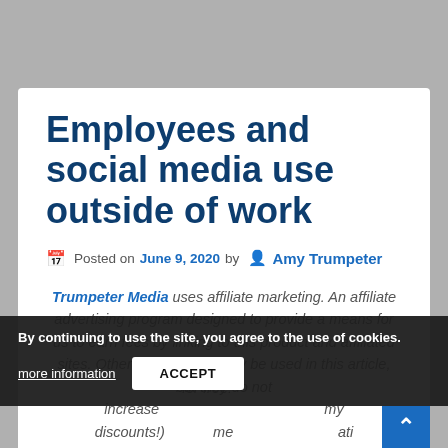Employees and social media use outside of work
Posted on June 9, 2020 by Amy Trumpeter
Trumpeter Media uses affiliate marketing. An affiliate advertising program designed to provide a means for us to earn fees by linking to this product and affiliated sites. Other affiliate links may be used in this article, but they do not increase the price of the product for you (my discounts!). Meaning I sometimes receive information for free.
By continuing to use the site, you agree to the use of cookies. more information ACCEPT